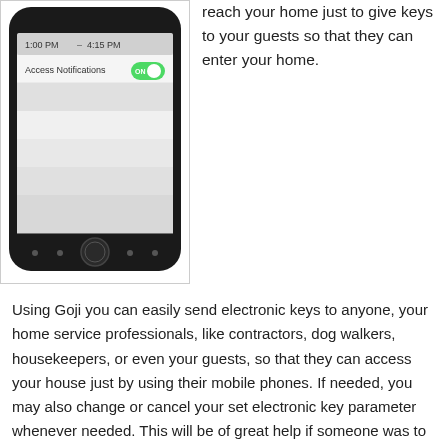[Figure (screenshot): Screenshot of a smartphone (iPhone) displaying an app screen with 'Access Notifications' toggle set to ON (blue). The phone has a black bezel with home button and navigation icons.]
reach your home just to give keys to your guests so that they can enter your home.
Using Goji you can easily send electronic keys to anyone, your home service professionals, like contractors, dog walkers, housekeepers, or even your guests, so that they can access your house just by using their mobile phones. If needed, you may also change or cancel your set electronic key parameter whenever needed. This will be of great help if someone was to visit your home on a certain time, but got late.
Works with Traditional Key Backups and Key Fobs